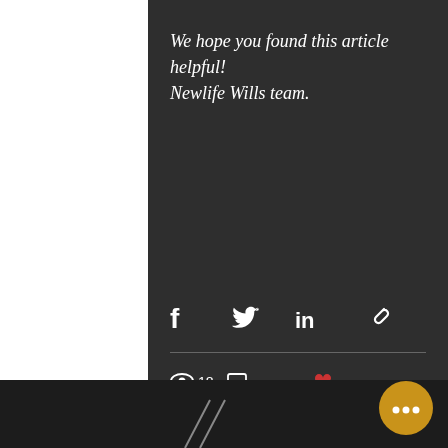We hope you found this article helpful!

Newlife Wills team.
[Figure (infographic): Social sharing icons: Facebook (f), Twitter bird, LinkedIn (in), and chain/link icon]
18 views, 0 comments, 3 likes
Recent Posts
See All